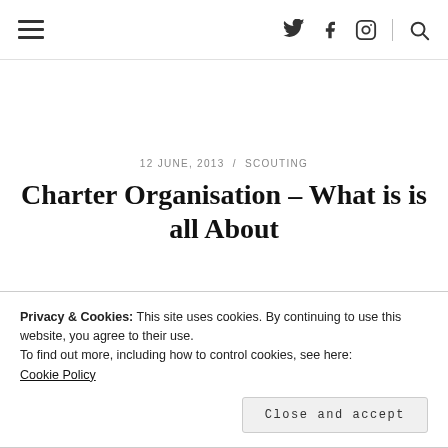≡  🐦 f 🔲 🔍
12 JUNE, 2013  /  SCOUTING
Charter Organisation – What is is all About
Privacy & Cookies: This site uses cookies. By continuing to use this website, you agree to their use.
To find out more, including how to control cookies, see here:
Cookie Policy
Close and accept